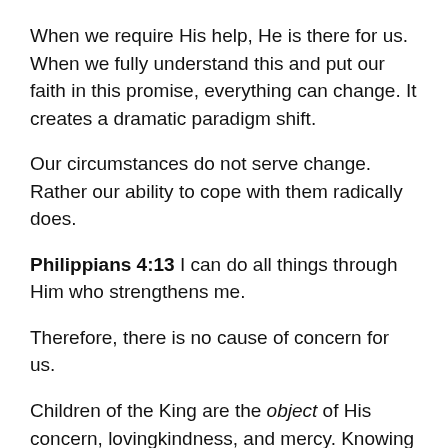When we require His help, He is there for us. When we fully understand this and put our faith in this promise, everything can change. It creates a dramatic paradigm shift.
Our circumstances do not serve change. Rather our ability to cope with them radically does.
Philippians 4:13 I can do all things through Him who strengthens me.
Therefore, there is no cause of concern for us.
Children of the King are the object of His concern, lovingkindness, and mercy. Knowing this truth, there is no need to fear even in the worst of calamities. At the time when it was written, what were the most